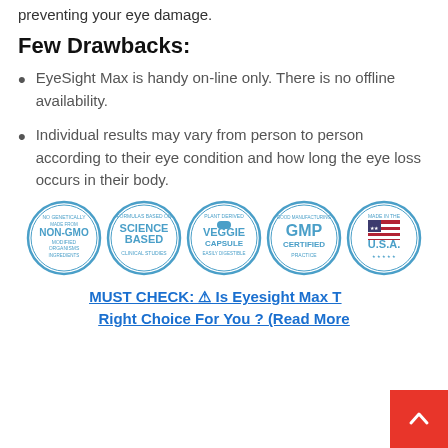preventing your eye damage.
Few Drawbacks:
EyeSight Max is handy on-line only. There is no offline availability.
Individual results may vary from person to person according to their eye condition and how long the eye loss occurs in their body.
[Figure (infographic): Five circular certification badges: NON-GMO, SCIENCE BASED, VEGGIE CAPSULE, GMP CERTIFIED, MADE IN THE U.S.A.]
MUST CHECK: ⚠ Is Eyesight Max The Right Choice For You ? (Read More